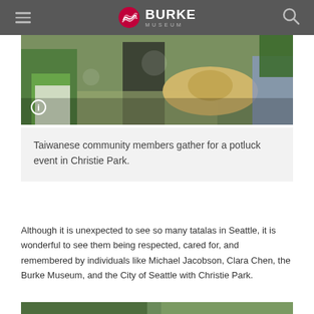Burke Museum
[Figure (photo): Outdoor photo of Taiwanese community members gathered at a potluck event in Christie Park, showing people in casual summer clothing and a wide-brimmed straw hat.]
Taiwanese community members gather for a potluck event in Christie Park.
Although it is unexpected to see so many tatalas in Seattle, it is wonderful to see them being respected, cared for, and remembered by individuals like Michael Jacobson, Clara Chen, the Burke Museum, and the City of Seattle with Christie Park.
[Figure (photo): Partial bottom photo strip showing people outdoors.]